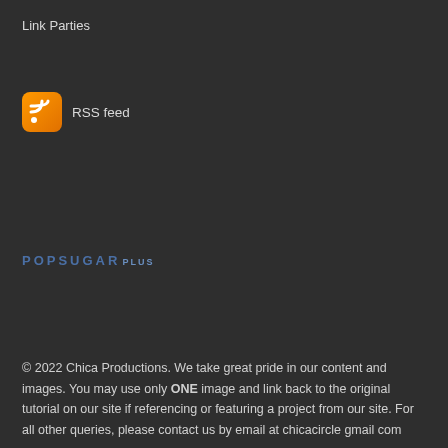Link Parties
[Figure (logo): RSS feed icon (orange square with rounded corners and white RSS symbol) followed by text 'RSS feed']
[Figure (logo): POPSUGAR.PLUS logo in dark blue/steel blue lettering with spaced capitals]
© 2022 Chica Productions. We take great pride in our content and images. You may use only ONE image and link back to the original tutorial on our site if referencing or featuring a project from our site. For all other queries, please contact us by email at chicacircle gmail com